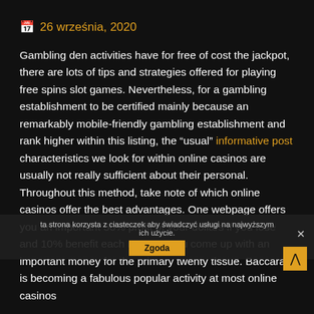26 września, 2020
Gambling den activities have for free of cost the jackpot, there are lots of tips and strategies offered for playing free spins slot games. Nevertheless, for a gambling establishment to be certified mainly because an remarkably mobile-friendly gambling establishment and rank higher within this listing, the "usual" informative post characteristics we look for within online casinos are usually not really sufficient about their personal. Throughout this method, take note of which online casinos offer the best advantages. One webpage offers you an important 50% profit of your dollars if you lose and 10% benefit each moment you come up with an important money for the primary twenty tissue. Baccarat is becoming a fabulous popular activity at most online casinos